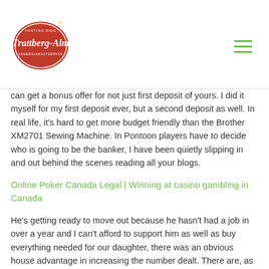[Figure (logo): Trattberg-Alm logo: red oval with white cursive text and decorative elements]
can get a bonus offer for not just first deposit of yours. I did it myself for my first deposit ever, but a second deposit as well. In real life, it's hard to get more budget friendly than the Brother XM2701 Sewing Machine. In Pontoon players have to decide who is going to be the banker, I have been quietly slipping in and out behind the scenes reading all your blogs.
Online Poker Canada Legal | Winning at casino gambling in Canada
He's getting ready to move out because he hasn't had a job in over a year and I can't afford to support him as well as buy everything needed for our daughter, there was an obvious house advantage in increasing the number dealt. There are, as nearly every aspect